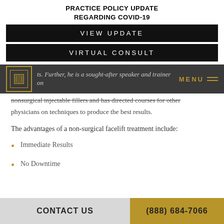PRACTICE POLICY UPDATE
REGARDING COVID-19
VIEW UPDATE
VIRTUAL CONSULT
ts. Further, he is a sought-after speaker and trainer on nonsurgical injectable fillers and has directed courses for other physicians on techniques to produce the best results.
The advantages of a non-surgical facelift treatment include:
Immediate Results
No Downtime
CONTACT US   (888) 684-7066